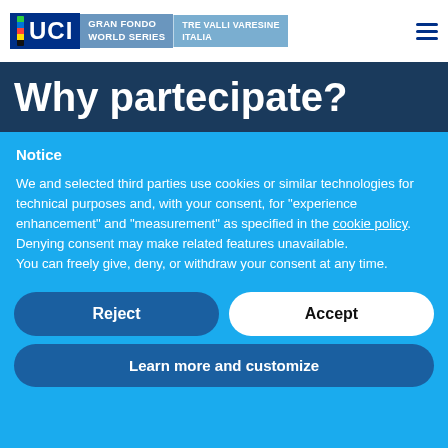UCI GRAN FONDO WORLD SERIES TRE VALLI VARESINE ITALIA
Why partecipate?
Notice
We and selected third parties use cookies or similar technologies for technical purposes and, with your consent, for “experience enhancement” and “measurement” as specified in the cookie policy. Denying consent may make related features unavailable.
You can freely give, deny, or withdraw your consent at any time.
Reject
Accept
Learn more and customize